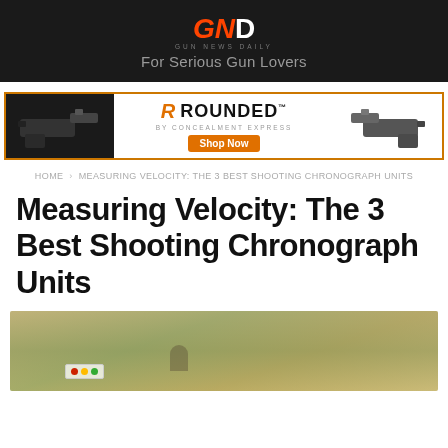GUN NEWS DAILY — For Serious Gun Lovers
[Figure (illustration): Rounded by Concealment Express advertisement banner with holster images and Shop Now button]
HOME › MEASURING VELOCITY: THE 3 BEST SHOOTING CHRONOGRAPH UNITS
Measuring Velocity: The 3 Best Shooting Chronograph Units
[Figure (photo): Outdoor shooting range scene with targets visible in the background, blurred landscape]